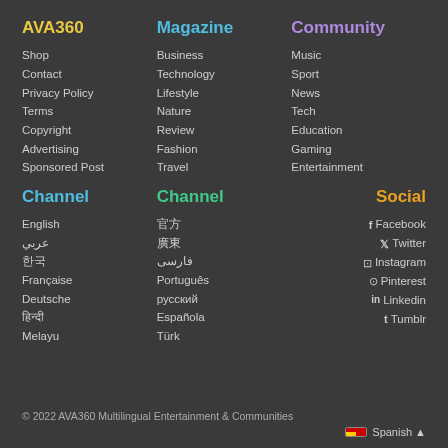AVA360
Shop
Contact
Privacy Policy
Terms
Copyright
Advertising
Sponsored Post
Magazine
Business
Technology
Lifestyle
Nature
Review
Fashion
Travel
Community
Music
Sport
News
Tech
Education
Gaming
Entertainment
Channel
English
عربي
한국
Française
Deutsche
हिन्दी
Melayu
Channel
官方
廣東
فارسی
Português
русский
Española
Türk
Social
Facebook
Twitter
Instagram
Pinterest
Linkedin
Tumblr
© 2022 AVA360 Multilingual Entertainment & Communities
Spanish ▲